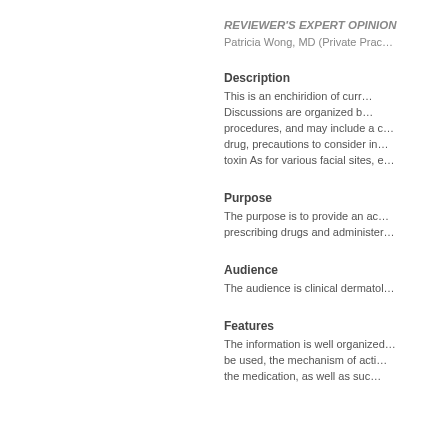REVIEWER'S EXPERT OPINION
Patricia Wong, MD (Private Prac…)
Description
This is an enchiridion of curr… Discussions are organized b… procedures, and may include a c… drug, precautions to consider in… toxin As for various facial sites, e…
Purpose
The purpose is to provide an ac… prescribing drugs and administer…
Audience
The audience is clinical dermatol…
Features
The information is well organized… be used, the mechanism of acti… the medication, as well as suc…